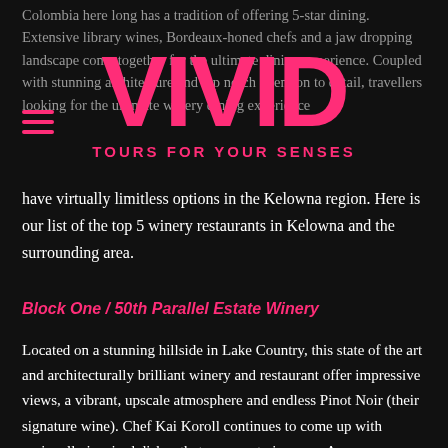Colombia here long has a tradition of offering 5-star dining. Extensive library wines, Bordeaux-honed chefs and a jaw dropping landscape come together for the ultimate dining experience. Coupled with stunning architecture and top notch attention to detail, travellers looking for the ultimate winery dining experience have virtually limitless options in the Kelowna region. Here is our list of the top 5 winery restaurants in Kelowna and the surrounding area.
[Figure (logo): VIVID TOURS FOR YOUR SENSES logo in hot pink overlaid on the text, with hamburger menu icon]
Block One / 50th Parallel Estate Winery
Located on a stunning hillside in Lake Country, this state of the art and architecturally brilliant winery and restaurant offer impressive views, a vibrant, upscale atmosphere and endless Pinot Noir (their signature wine). Chef Kai Koroll continues to come up with regionally inspired dishes that are sure to impress. An ever changing menu, produce sourced from their own vineyard farm and jaw dropping views complete the experience. We highly recommend checking out their extensive list of library wines to